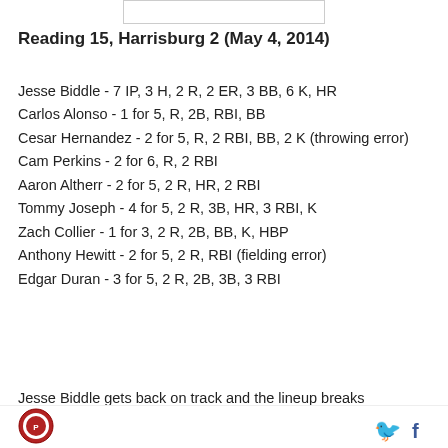Reading 15, Harrisburg 2 (May 4, 2014)
Jesse Biddle - 7 IP, 3 H, 2 R, 2 ER, 3 BB, 6 K, HR
Carlos Alonso - 1 for 5, R, 2B, RBI, BB
Cesar Hernandez - 2 for 5, R, 2 RBI, BB, 2 K (throwing error)
Cam Perkins - 2 for 6, R, 2 RBI
Aaron Altherr - 2 for 5, 2 R, HR, 2 RBI
Tommy Joseph - 4 for 5, 2 R, 3B, HR, 3 RBI, K
Zach Collier - 1 for 3, 2 R, 2B, BB, K, HBP
Anthony Hewitt - 2 for 5, 2 R, RBI (fielding error)
Edgar Duran - 3 for 5, 2 R, 2B, 3B, 3 RBI
Jesse Biddle gets back on track and the lineup breaks
Logo | Twitter | Facebook